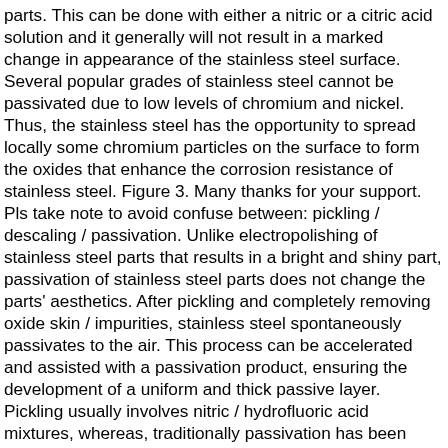parts. This can be done with either a nitric or a citric acid solution and it generally will not result in a marked change in appearance of the stainless steel surface. Several popular grades of stainless steel cannot be passivated due to low levels of chromium and nickel. Thus, the stainless steel has the opportunity to spread locally some chromium particles on the surface to form the oxides that enhance the corrosion resistance of stainless steel. Figure 3. Many thanks for your support. Pls take note to avoid confuse between: pickling / descaling / passivation. Unlike electropolishing of stainless steel parts that results in a bright and shiny part, passivation of stainless steel parts does not change the parts' aesthetics. After pickling and completely removing oxide skin / impurities, stainless steel spontaneously passivates to the air. This process can be accelerated and assisted with a passivation product, ensuring the development of a uniform and thick passive layer. Pickling usually involves nitric / hydrofluoric acid mixtures, whereas, traditionally passivation has been done using only nitric acid. Steel pickling and the associated process of acid regeneration result in the emission of hazardous air pollutants (HAPs). The passivation time is determined by the different environments in which the steel is exposed. Fill in your details below or click an icon to log in: You are commenting using your WordPress.com account. Although the stainless steel will